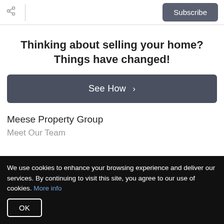Subscribe
Thinking about selling your home? Things have changed!
See How ›
Meese Property Group
Meet Our Team
We use cookies to enhance your browsing experience and deliver our services. By continuing to visit this site, you agree to our use of cookies. More info
OK